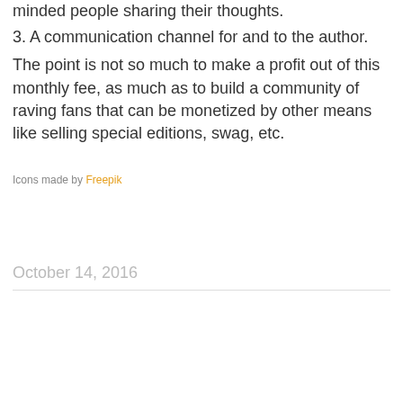minded people sharing their thoughts.
3. A communication channel for and to the author.
The point is not so much to make a profit out of this monthly fee, as much as to build a community of raving fans that can be monetized by other means like selling special editions, swag, etc.
Icons made by Freepik
October 14, 2016